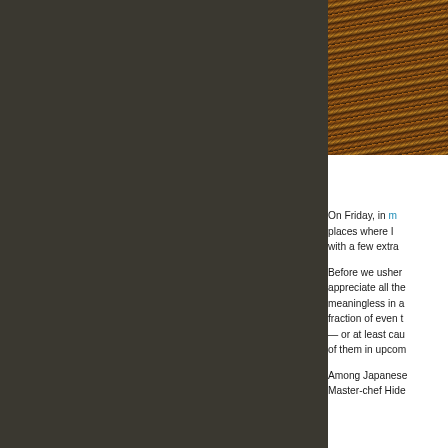[Figure (photo): Close-up photograph of golden/bronze colored vertical stripes or fibers, possibly bamboo, metal, or woven material with warm amber and dark brown tones]
On Friday, in m[y post about] places where I [have eaten] with a few extra[...]
Before we usher[...] appreciate all the[...] meaningless in a[...] fraction of even t[...] — or at least cau[...] of them in upcom[...]
Among Japanese[...] Master-chef Hide[...]